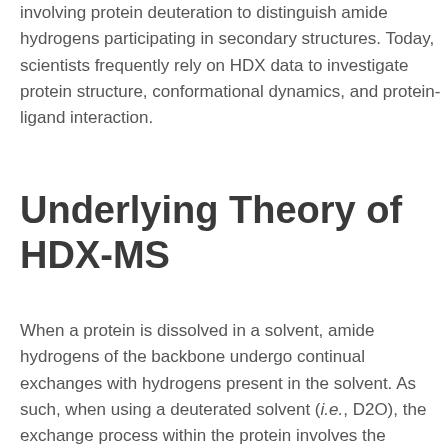involving protein deuteration to distinguish amide hydrogens participating in secondary structures. Today, scientists frequently rely on HDX data to investigate protein structure, conformational dynamics, and protein-ligand interaction.
Underlying Theory of HDX-MS
When a protein is dissolved in a solvent, amide hydrogens of the backbone undergo continual exchanges with hydrogens present in the solvent. As such, when using a deuterated solvent (i.e., D2O), the exchange process within the protein involves the